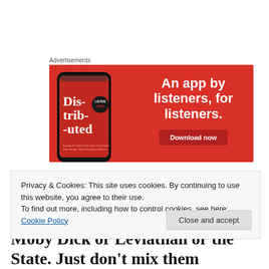Advertisements
[Figure (illustration): Advertisement banner for a podcast app. Red background with a phone displaying 'Distributed' podcast app and text 'An app by listeners, for listeners.' with a 'Download now' button.]
One of my most productive friends in academe, dead at 55
of a massive heart attack, once told me that he was afraid
Privacy & Cookies: This site uses cookies. By continuing to use this website, you agree to their use.
To find out more, including how to control cookies, see here: Cookie Policy
Close and accept
Moby Dick or Leviathan or the State. Just don't mix them